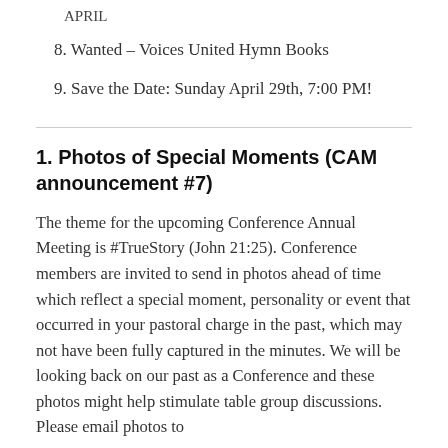APRIL
8. Wanted – Voices United Hymn Books
9. Save the Date: Sunday April 29th, 7:00 PM!
1. Photos of Special Moments (CAM announcement #7)
The theme for the upcoming Conference Annual Meeting is #TrueStory (John 21:25). Conference members are invited to send in photos ahead of time which reflect a special moment, personality or event that occurred in your pastoral charge in the past, which may not have been fully captured in the minutes. We will be looking back on our past as a Conference and these photos might help stimulate table group discussions. Please email photos to